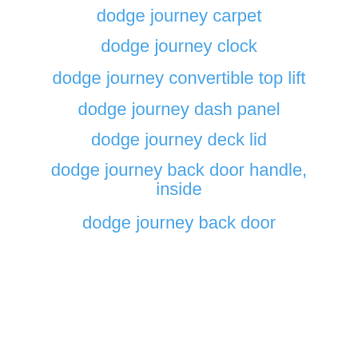dodge journey carpet
dodge journey clock
dodge journey convertible top lift
dodge journey dash panel
dodge journey deck lid
dodge journey back door handle, inside
dodge journey back door